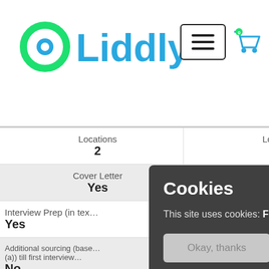[Figure (logo): Liddly logo with teal circular icon and blue text]
| Locations | Locations |
| 2 | 3 |
| Cover Letter | Cover Letter |
| Yes | Yes |
| Interview Prep (in tex… |  |
| Yes |  |
| Additional sourcing (base… (a)) till first interview… |  |
| No |  |
| Delivery timeline |  |
| 15 days |  |
USD
Cookies
This site uses cookies: Find out more.
Okay, thanks